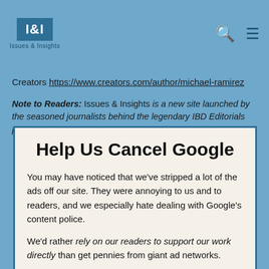Issues & Insights | I&I logo with search and menu icons
Creators https://www.creators.com/author/michael-ramirez
Note to Readers: Issues & Insights is a new site launched by the seasoned journalists behind the legendary IBD Editorials page. Our mission is to use
Help Us Cancel Google
You may have noticed that we've stripped a lot of the ads off our site. They were annoying to us and to readers, and we especially hate dealing with Google's content police.
We'd rather rely on our readers to support our work directly than get pennies from giant ad networks.
We won't charge you to access our content, but you can help us keep this site going with a donation